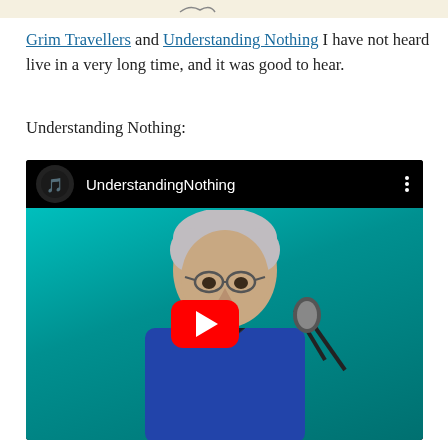[Figure (illustration): Top portion of a partial image visible at the top of the page, appears to show a line drawing or sketch on a light background]
Grim Travellers and Understanding Nothing I have not heard live in a very long time, and it was good to hear.
Understanding Nothing:
[Figure (screenshot): YouTube video embed showing UnderstandingNothing channel. Thumbnail shows an elderly man with glasses, grey hair, wearing a blue jacket, at a microphone against a teal background. A red YouTube play button is overlaid in the center.]